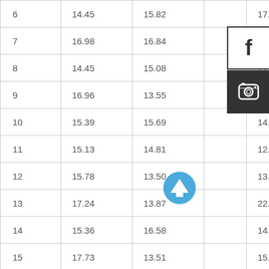|  |  |  |  |  |
| --- | --- | --- | --- | --- |
| 6 | 14.45 | 15.82 |  | 17.36 |
| 7 | 16.98 | 16.84 |  | 14.61 |
| 8 | 14.45 | 15.08 |  | 17.27 |
| 9 | 16.96 | 13.55 |  | 13.82 |
| 10 | 15.39 | 15.69 |  | 14.87 |
| 11 | 15.13 | 14.81 |  | 12.38 |
| 12 | 15.78 | 13.50 |  | 13.72 |
| 13 | 17.24 | 13.87 |  | 22.49 |
| 14 | 15.36 | 16.58 |  | 14.31 |
| 15 | 17.73 | 13.51 |  | 15.08 |